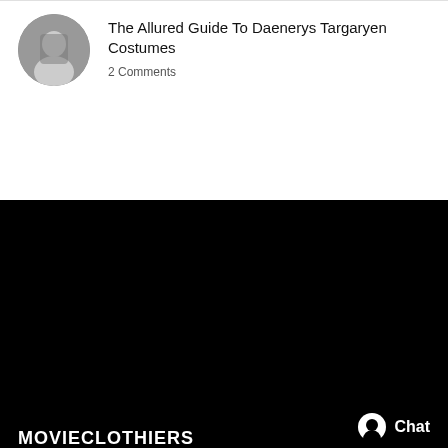[Figure (photo): Circular thumbnail photo of a person in costume for the Daenerys Targaryen article]
The Allured Guide To Daenerys Targaryen Costumes
2 Comments
MOVIECLOTHIERS
About Us
Contact Us
Our Policies
Blogs & Costume Guides
Chat